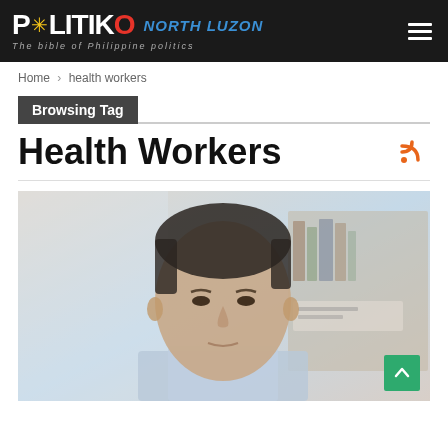POLITIKO NORTH LUZON — The bible of Philippine politics
Home > health workers
Browsing Tag
Health Workers
[Figure (photo): Portrait photo of a Filipino man in a light blue dress shirt, with a blurred bookshelf background. Appears to be a politician or government official.]